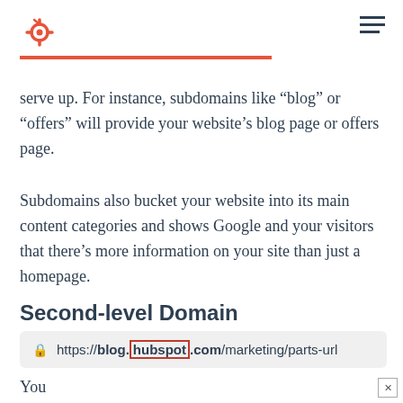HubSpot logo and navigation
serve up. For instance, subdomains like “blog” or “offers” will provide your website’s blog page or offers page.
Subdomains also bucket your website into its main content categories and shows Google and your visitors that there’s more information on your site than just a homepage.
Second-level Domain
[Figure (screenshot): Browser address bar showing URL: https://blog.hubspot.com/marketing/parts-url with 'hubspot' highlighted with a red border]
You